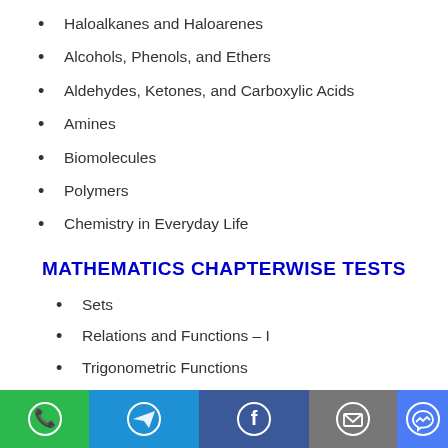Haloalkanes and Haloarenes
Alcohols, Phenols, and Ethers
Aldehydes, Ketones, and Carboxylic Acids
Amines
Biomolecules
Polymers
Chemistry in Everyday Life
MATHEMATICS CHAPTERWISE TESTS
Sets
Relations and Functions – I
Trigonometric Functions
Principle of Mathematical Induction
Complex Numbers and Quadratic Equations
Linear Inequalities